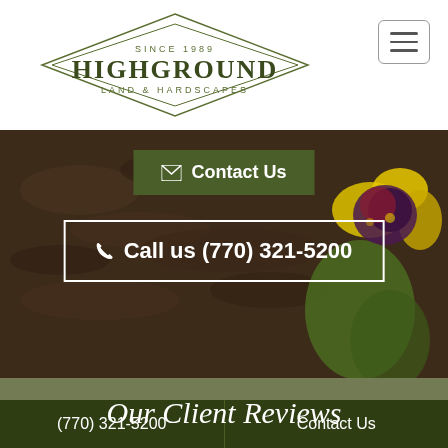[Figure (logo): HighGround Land & Hardscapes diamond logo with text 'SINCE 1989' and 'LAND & HARDSCAPES']
[Figure (other): Hamburger menu button (three horizontal lines) in rounded rectangle border]
[Figure (photo): Background photograph of dark soil with yellow and purple pansy flower on right side]
✉ Contact Us
✆ Call us (770) 321-5200
Our Client Reviews
5.0 / 5.0
(770) 321-5200    Contact Us